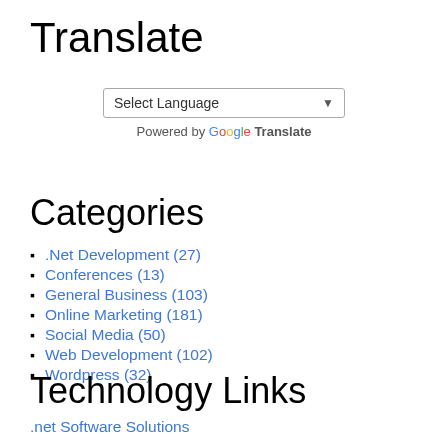Translate
[Figure (other): Google Translate widget with 'Select Language' dropdown and 'Powered by Google Translate' text]
Categories
.Net Development (27)
Conferences (13)
General Business (103)
Online Marketing (181)
Social Media (50)
Web Development (102)
Wordpress (32)
Technology Links
.net Software Solutions